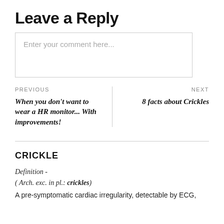Leave a Reply
Enter your comment here...
PREVIOUS
When you don't want to wear a HR monitor... With improvements!
NEXT
8 facts about Crickles
CRICKLE
Definition -
( Arch. exc. in pl.: crickles)
A pre-symptomatic cardiac irregularity, detectable by ECG,